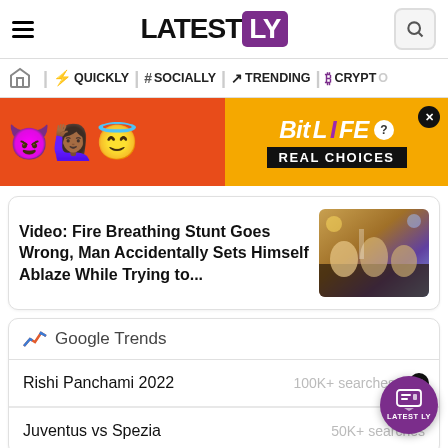LATESTLY
[Figure (infographic): BitLife REAL CHOICES advertisement banner with emoji characters on orange/red background]
Video: Fire Breathing Stunt Goes Wrong, Man Accidentally Sets Himself Ablaze While Trying to...
Google Trends
Rishi Panchami 2022 — 100K+ searches
Juventus vs Spezia — 50K+ searches